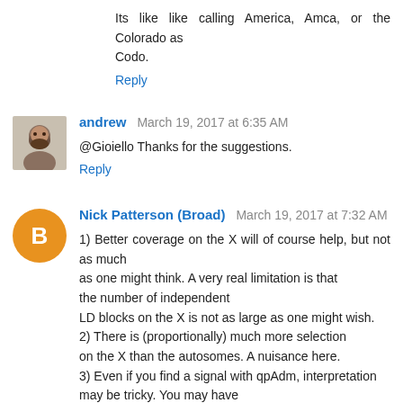Its like like calling America, Amca, or the Colorado as Codo.
Reply
andrew March 19, 2017 at 6:35 AM
@Gioiello Thanks for the suggestions.
Reply
Nick Patterson (Broad) March 19, 2017 at 7:32 AM
1) Better coverage on the X will of course help, but not as much as one might think. A very real limitation is that the number of independent LD blocks on the X is not as large as one might wish. 2) There is (proportionally) much more selection on the X than the autosomes. A nuisance here. 3) Even if you find a signal with qpAdm, interpretation may be tricky. You may have shown sex-bias between left and right.